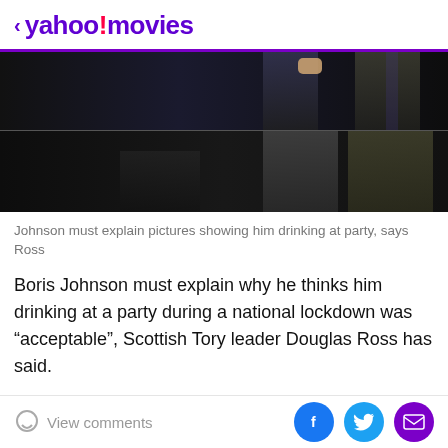< yahoo!movies
[Figure (photo): Dark background photo showing two people standing, one visible hand, split into two photo strips with a dividing line]
Johnson must explain pictures showing him drinking at party, says Ross
Boris Johnson must explain why he thinks him drinking at a party during a national lockdown was “acceptable”, Scottish Tory leader Douglas Ross has said.
Pictures released by ITV News on Monday show the Prime Minster holding a drink while standing behind a table littered with bottles of wine and food.
View comments